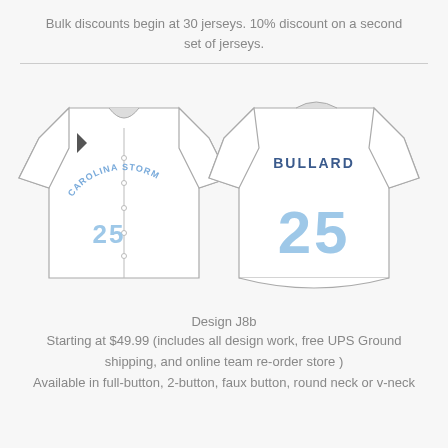Bulk discounts begin at 30 jerseys. 10% discount on a second set of jerseys.
[Figure (illustration): Front and back view of a white baseball jersey. Front shows 'CAROLINA STORM' arched text and number 25 in light blue. Back shows 'BULLARD' and number 25 in light blue.]
Design J8b
Starting at $49.99 (includes all design work, free UPS Ground shipping, and online team re-order store )
Available in full-button, 2-button, faux button, round neck or v-neck